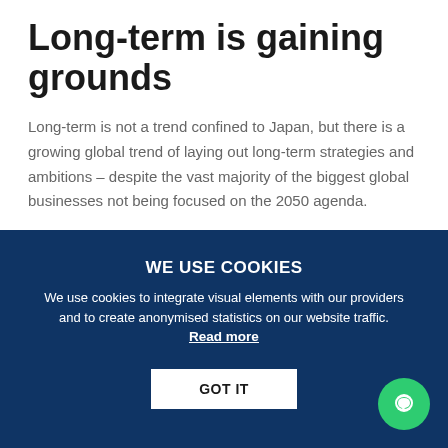Long-term is gaining grounds
Long-term is not a trend confined to Japan, but there is a growing global trend of laying out long-term strategies and ambitions – despite the vast majority of the biggest global businesses not being focused on the 2050 agenda.
WE USE COOKIES
We use cookies to integrate visual elements with our providers and to create anonymised statistics on our website traffic. Read more
GOT IT